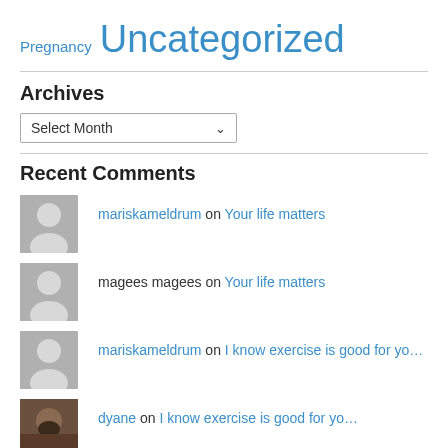Pregnancy Uncategorized
Archives
Select Month
Recent Comments
mariskameldrum on Your life matters
magees magees on Your life matters
mariskameldrum on I know exercise is good for yo…
dyane on I know exercise is good for yo…